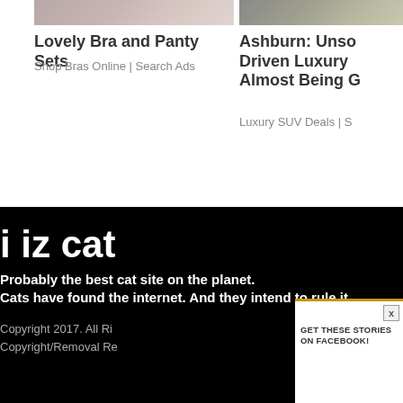[Figure (photo): Cropped top portion of lingerie advertisement image]
Lovely Bra and Panty Sets
Shop Bras Online | Search Ads
[Figure (photo): Cropped top portion of aerial/luxury SUV advertisement image]
Ashburn: Unso Driven Luxury Almost Being G
Luxury SUV Deals | S
i iz cat
Probably the best cat site on the planet.
Cats have found the internet. And they intend to rule it.
Copyright 2017. All Ri
Copyright/Removal Re
GET THESE STORIES ON FACEBOOK!